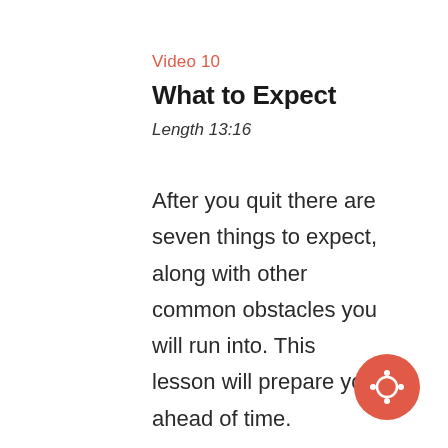Video 10
What to Expect
Length 13:16
After you quit there are seven things to expect, along with other common obstacles you will run into. This lesson will prepare you ahead of time.
[Figure (illustration): Red circular play/controller button icon in bottom-right corner]